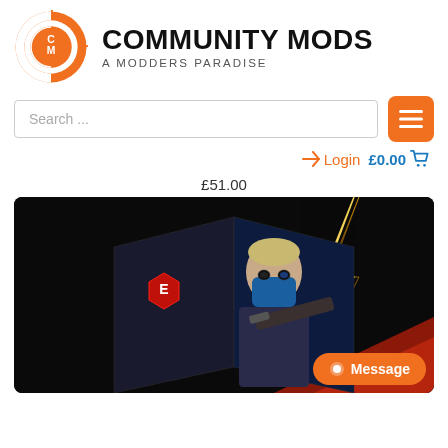[Figure (logo): Community Mods logo: orange circle with CM letters, next to bold text COMMUNITY MODS and subtitle A MODDERS PARADISE]
Search ...
≡
➜ Login  £0.00 🛒
£51.00
[Figure (photo): Product box art showing a masked armed character with blue face mask holding a rifle, red and gold lightning bolt graphic on dark background, with a red hexagonal logo on the box]